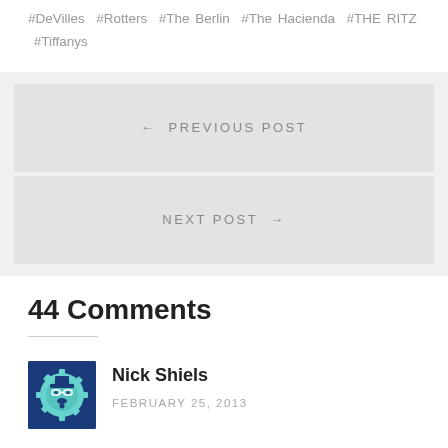#DeVilles #Rotters #The Berlin #The Hacienda #THE RITZ #Tiffanys
← PREVIOUS POST
NEXT POST →
44 Comments
Nick Shiels
FEBRUARY 25, 2013